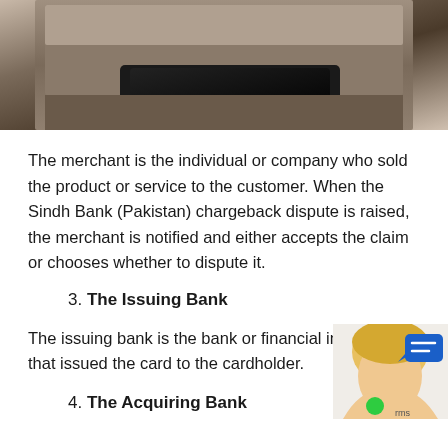[Figure (photo): Top portion of a credit card payment terminal device, with a dark card inserted, shown in close-up against a light background]
The merchant is the individual or company who sold the product or service to the customer. When the Sindh Bank (Pakistan) chargeback dispute is raised, the merchant is notified and either accepts the claim or chooses whether to dispute it.
3. The Issuing Bank
The issuing bank is the bank or financial institution that issued the card to the cardholder.
4. The Acquiring Bank
[Figure (photo): Small avatar of a blonde woman with a chat bubble icon and green online indicator dot in the bottom right corner]